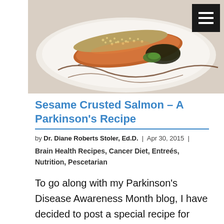[Figure (photo): A sesame crusted salmon dish plated on a white plate with sauce drizzle and garnish]
Sesame Crusted Salmon – A Parkinson's Recipe
by Dr. Diane Roberts Stoler, Ed.D. | Apr 30, 2015 | Brain Health Recipes, Cancer Diet, Entreés, Nutrition, Pescetarian
To go along with my Parkinson's Disease Awareness Month blog, I have decided to post a special recipe for those with Parkinson's Disease. While all of my recipes promote optimal brain health,